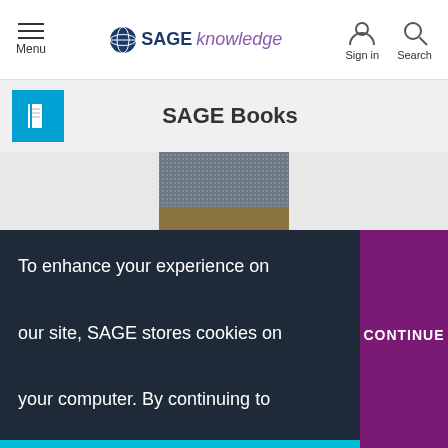SAGE knowledge — Menu | Sign in | Search
SAGE Books
[Figure (photo): Book cover thumbnail for a SAGE publication by Manuel Alvarado, Mily Buonanno]
To enhance your experience on our site, SAGE stores cookies on your computer. By continuing to use this site you consent to receive cookies. Learn more.
CONTINUE